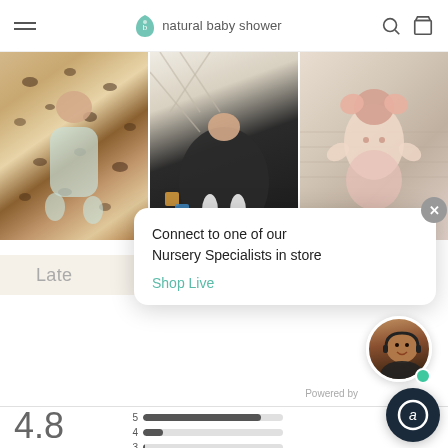natural baby shower
[Figure (photo): Three baby photos side by side: baby in leopard print bouncer, baby in dark bouncer/rocker, baby in beige hammock with pink bow]
Connect to one of our Nursery Specialists in store
Shop Live
Late
Powered by
[Figure (photo): Nursery specialist agent with headset, circular avatar photo]
4.8
[Figure (bar-chart): Rating distribution]
[Figure (logo): Chat support button - circular dark navy icon with letter a]